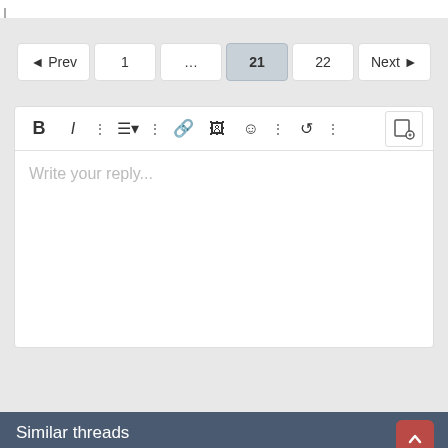[Figure (screenshot): Pagination bar showing: Prev, 1, ..., 21 (active/selected), 22, Next]
[Figure (screenshot): Text editor/reply box with toolbar icons (Bold, Italic, list, link, image, emoji, undo, etc.) and placeholder text 'Write your reply...']
Post Reply
Similar threads
Inflation - Tulsa Home Builders Edition
SlugSlinger · General Discussion
Replies: 45 · Jan 21, 2022